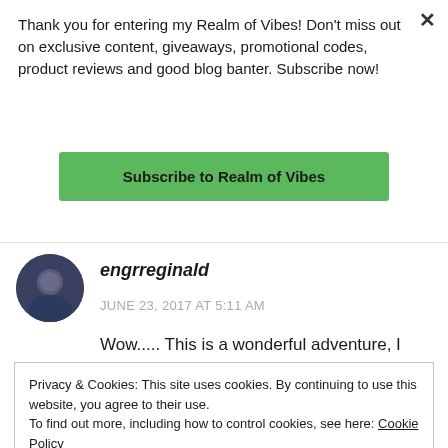Thank you for entering my Realm of Vibes! Don't miss out on exclusive content, giveaways, promotional codes, product reviews and good blog banter. Subscribe now!
Subscribe to Realm of Vibes
engrreginald
JUNE 23, 2017 AT 5:11 AM
Wow..... This is a wonderful adventure, I wish one day to embark in this.
Privacy & Cookies: This site uses cookies. By continuing to use this website, you agree to their use.
To find out more, including how to control cookies, see here: Cookie Policy
Close and accept